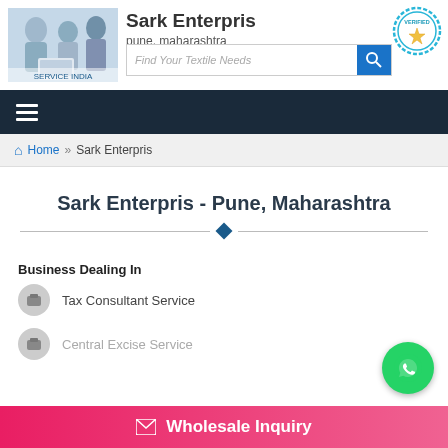[Figure (screenshot): Business listing website screenshot for Sark Enterpris showing header with company photo, brand name, location, search bar, verified badge, navigation, breadcrumb, title, and services.]
Sark Enterpris
pune, maharashtra
Find Your Textile Needs
Home » Sark Enterpris
Sark Enterpris - Pune, Maharashtra
Business Dealing In
Tax Consultant Service
Central Excise Service
Wholesale Inquiry